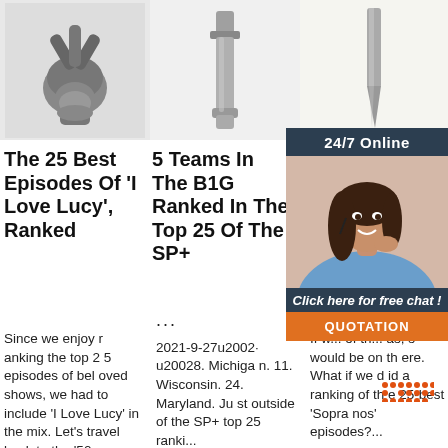[Figure (photo): Three product photos in a row: a black drill bit/tool fitting on the left, a long metal bolt/shaft in the center, and a narrow metal chisel/tool on the right]
The 25 Best Episodes Of 'I Love Lucy', Ranked
Since we enjoy ranking the top 25 episodes of beloved shows, we had to include 'I Love Lucy' in the mix. Let's travel back to the '50s...
5 Teams In The B1G Ranked In The Top 25 Of The SP+
... 2021-9-27u2002·u20028. Michigan. 11. Wisconsin. 24. Maryland. Just outside of the SP+ top 25 ranki...
The So... Ep... Ra...
If w... of th... as, s' would be on there. What if we did a ranking of the 25-best 'Sopranos' episodes?...
[Figure (photo): Online chat support advertisement with a woman wearing a headset, dark blue header '24/7 Online', 'Click here for free chat!' text, and an orange 'QUOTATION' button]